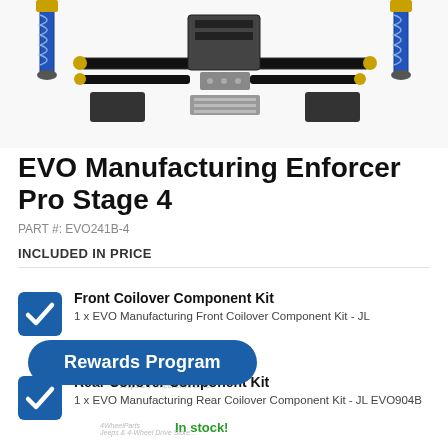[Figure (photo): Product photo of EVO Manufacturing Enforcer Pro Stage 4 suspension lift kit components laid out, including coilover shocks with blue springs, control arms, brackets, and hardware]
EVO Manufacturing Enforcer Pro Stage 4
PART #: EVO241B-4
INCLUDED IN PRICE
Rewards Program
Front Coilover Component Kit
1 x EVO Manufacturing Front Coilover Component Kit - JL
Rear Coilover Component Kit
1 x EVO Manufacturing Rear Coilover Component Kit - JL EVO904B
In stock!